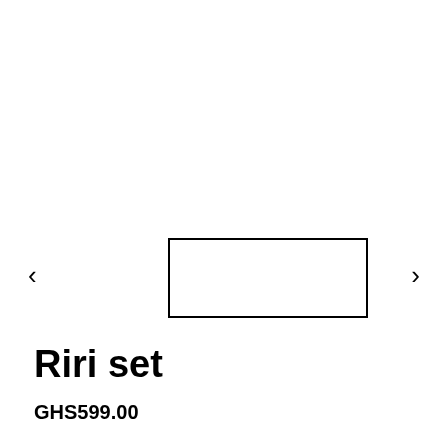[Figure (other): Product image carousel with a thumbnail strip showing a selected thumbnail outlined in black, left navigation arrow on the left, right navigation arrow on the right. Main product image area is blank/white.]
Riri set
GHS599.00